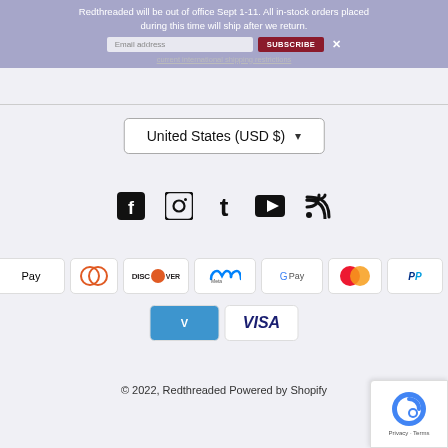Redthreaded will be out of office Sept 1-11. All in-stock orders placed during this time will ship after we return.
Email address / SUBSCRIBE / current international shipping restrictions
[Figure (screenshot): Country selector dropdown showing 'United States (USD $)' with dropdown arrow]
[Figure (infographic): Social media icons row: Facebook, Instagram, Tumblr, YouTube, RSS]
[Figure (infographic): Payment method icons: American Express, Apple Pay, Diners Club, Discover, Meta Pay, Google Pay, Mastercard, PayPal, Shop Pay, Venmo, Visa]
© 2022, Redthreaded Powered by Shopify
[Figure (other): reCAPTCHA badge with Privacy and Terms links]